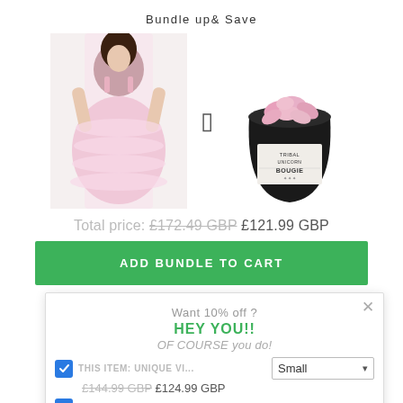Bundle up & Save
[Figure (photo): Photo of a woman wearing a pink layered tulle mini dress]
[Figure (photo): Photo of a black candle jar filled with pink wax melts, labeled Tribal Unicorn Bougie]
Total price: £172.49 GBP £121.99 GBP
ADD BUNDLE TO CART
HEY YOU!!
Want 10% off ?
OF COURSE you do!
THIS ITEM: UNIQUE VI...
£144.99 GBP £124.99 GBP
TRIBAL UN...  £27.50 GBP
Enter your Email